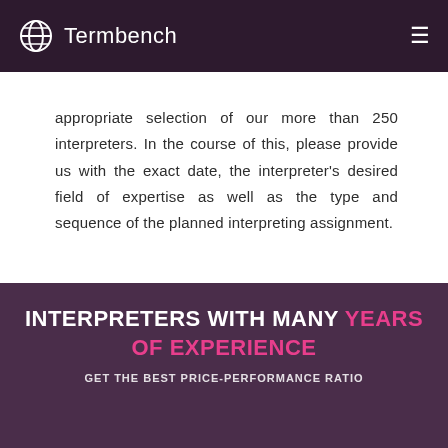Termbench
appropriate selection of our more than 250 interpreters. In the course of this, please provide us with the exact date, the interpreter's desired field of expertise as well as the type and sequence of the planned interpreting assignment.
INTERPRETERS WITH MANY YEARS OF EXPERIENCE
GET THE BEST PRICE-PERFORMANCE RATIO